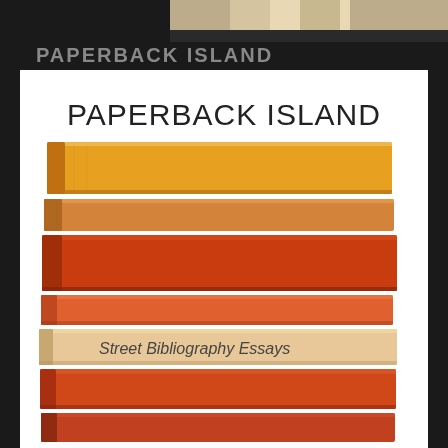PAPERBACK ISLAND
[Figure (photo): Partial photo at top of page (cropped) showing some object, likely books]
[Figure (illustration): Book cover for 'Paperback Island: Street Bibliography Essays' showing a stack of old paperback books with orange/tan spines arranged horizontally, on a white background]